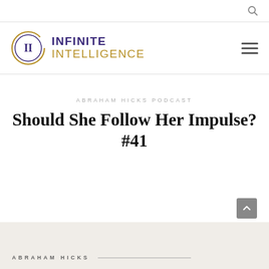[Figure (logo): Infinite Intelligence podcast logo with circle containing 'II' monogram and text 'INFINITE INTELLIGENCE']
ABRAHAM HICKS PODCAST
Should She Follow Her Impulse? #41
ABRAHAM HICKS